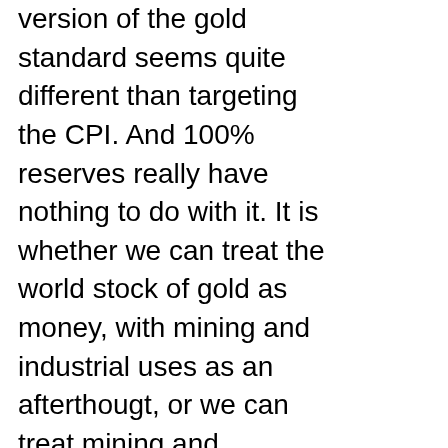version of the gold standard seems quite different than targeting the CPI. And 100% reserves really have nothing to do with it. It is whether we can treat the world stock of gold as money, with mining and industrial uses as an afterthougt, or we can treat mining and industrial uses as determining the relative price of gold, with monetary uses as an afterthought--and the price of gold defining the unit of account. Gold coins and gold reserves make a difference between it impacts these two magnitudes.
Sometimes I want to say that